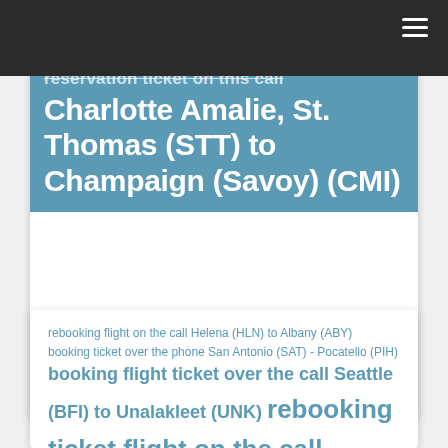reservation ticket on the call Charlotte Amalie, St. Thomas (STT) to Champaign (Savoy) (CMI)
rebooking flight on the call Helena (HLN) to Albany (ABY) booking ticket over the phone San Antonio (SAT) - Pocatello (PIH) booking flight ticket over the call Seattle (BFI) to Unalakleet (UNK) rebooking ticket flight on the call